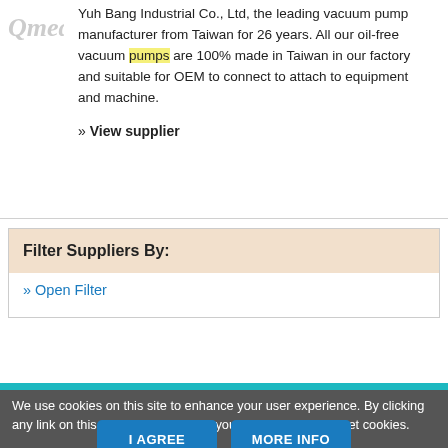[Figure (logo): Qmed logo partially visible in top-left corner, greyed out]
Yuh Bang Industrial Co., Ltd, the leading vacuum pump manufacturer from Taiwan for 26 years. All our oil-free vacuum pumps are 100% made in Taiwan in our factory and suitable for OEM to connect to attach to equipment and machine.
» View supplier
Filter Suppliers By:
» Open Filter
We use cookies on this site to enhance your user experience. By clicking any link on this page you are giving your consent for us to set cookies.
I AGREE
MORE INFO